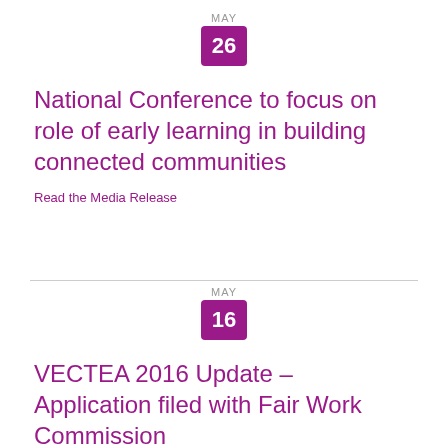MAY 26
National Conference to focus on role of early learning in building connected communities
Read the Media Release
MAY 16
VECTEA 2016 Update – Application filed with Fair Work Commission